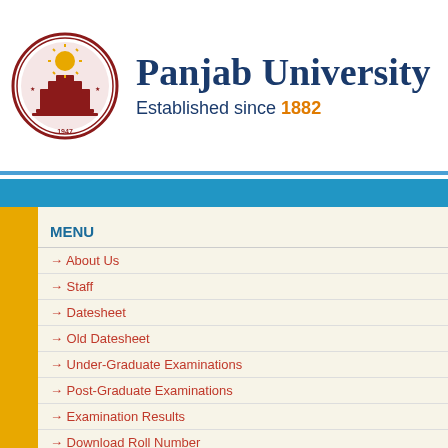[Figure (logo): Panjab University circular seal/logo in red with 1947 text]
Panjab University
Established since 1882
MENU
About Us
Staff
Datesheet
Old Datesheet
Under-Graduate Examinations
Post-Graduate Examinations
Examination Results
Download Roll Number
RELATED LINKS
Notice Board
Forms
Panjab University
NOTICEBOARD: GENERAL NOTIFICATIONS
CHANGE in the subject in the (B.Voc.) (Fashion Technology) SEMESTER(Regular)
CHANGE in the subject in the (Fashion Technology & Appa...